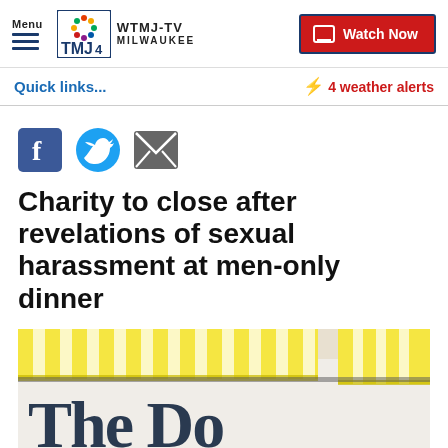Menu | WTMJ-TV MILWAUKEE | Watch Now
Quick links...
⚡ 4 weather alerts
[Figure (other): Social share icons: Facebook, Twitter, Email]
Charity to close after revelations of sexual harassment at men-only dinner
[Figure (photo): Photo showing a building exterior with yellow and white striped awnings and large serif letters reading The Do... (partial signage)]